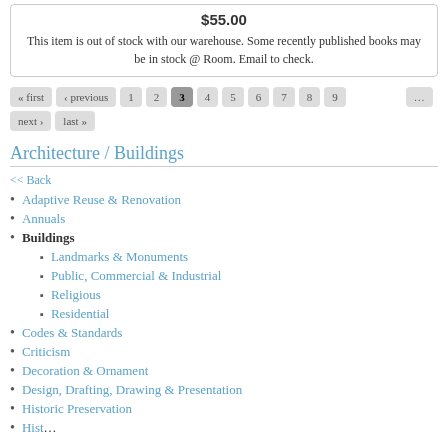$55.00
This item is out of stock with our warehouse. Some recently published books may be in stock @ Room. Email to check.
« first ‹ previous 1 2 3 4 5 6 7 8 9 ... next › last »
Architecture / Buildings
<< Back
Adaptive Reuse & Renovation
Annuals
Buildings
Landmarks & Monuments
Public, Commercial & Industrial
Religious
Residential
Codes & Standards
Criticism
Decoration & Ornament
Design, Drafting, Drawing & Presentation
Historic Preservation
History